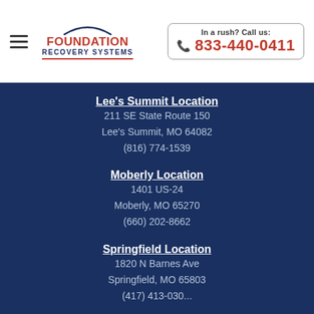Foundation Recovery Systems — In a rush? Call us: 833-440-0411
Lee's Summit Location
211 SE State Route 150
Lee's Summit, MO 64082
(816) 774-1539
Moberly Location
1401 US-24
Moberly, MO 65270
(660) 202-8662
Springfield Location
1820 N Barnes Ave
Springfield, MO 65803
(417) 413-030...